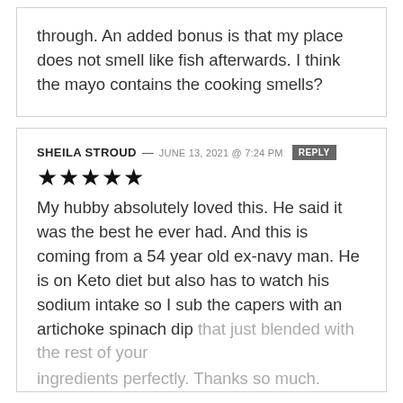through. An added bonus is that my place does not smell like fish afterwards. I think the mayo contains the cooking smells?
SHEILA STROUD — JUNE 13, 2021 @ 7:24 PM  REPLY
★★★★★
My hubby absolutely loved this. He said it was the best he ever had. And this is coming from a 54 year old ex-navy man. He is on Keto diet but also has to watch his sodium intake so I sub the capers with an artichoke spinach dip that just blended with the rest of your ingredients perfectly. Thanks so much.